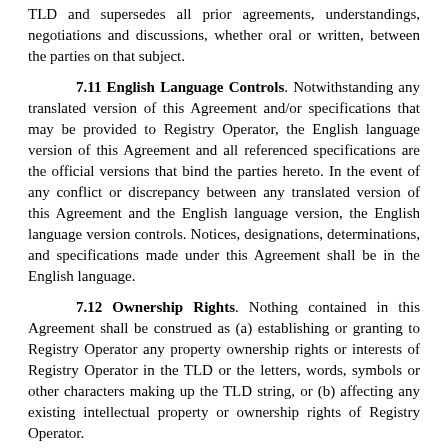TLD and supersedes all prior agreements, understandings, negotiations and discussions, whether oral or written, between the parties on that subject.
7.11 English Language Controls. Notwithstanding any translated version of this Agreement and/or specifications that may be provided to Registry Operator, the English language version of this Agreement and all referenced specifications are the official versions that bind the parties hereto. In the event of any conflict or discrepancy between any translated version of this Agreement and the English language version, the English language version controls. Notices, designations, determinations, and specifications made under this Agreement shall be in the English language.
7.12 Ownership Rights. Nothing contained in this Agreement shall be construed as (a) establishing or granting to Registry Operator any property ownership rights or interests of Registry Operator in the TLD or the letters, words, symbols or other characters making up the TLD string, or (b) affecting any existing intellectual property or ownership rights of Registry Operator.
7.13 Severability; Conflicts with Laws. This Agreement shall be deemed severable; the invalidity or unenforceability of any term or provision of this Agreement shall